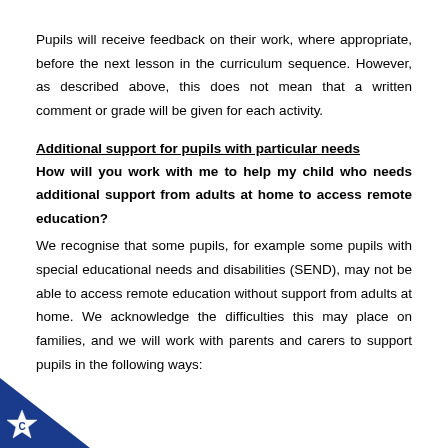Pupils will receive feedback on their work, where appropriate, before the next lesson in the curriculum sequence. However, as described above, this does not mean that a written comment or grade will be given for each activity.
Additional support for pupils with particular needs
How will you work with me to help my child who needs additional support from adults at home to access remote education?
We recognise that some pupils, for example some pupils with special educational needs and disabilities (SEND), may not be able to access remote education without support from adults at home. We acknowledge the difficulties this may place on families, and we will work with parents and carers to support pupils in the following ways:
[Figure (logo): A blue and white star badge/logo in the bottom-left corner with the letter C in the center]